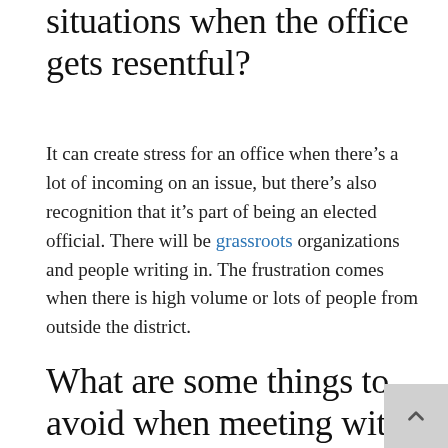situations when the office gets resentful?
It can create stress for an office when there’s a lot of incoming on an issue, but there’s also recognition that it’s part of being an elected official. There will be grassroots organizations and people writing in. The frustration comes when there is high volume or lots of people from outside the district.
What are some things to avoid when meeting with an office?
Your group may not agree with the position of an office, but I think most offices are willing to have a